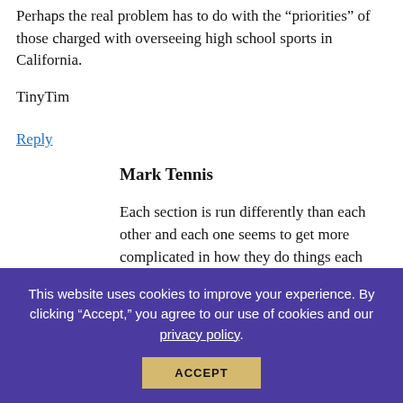Perhaps the real problem has to do with the “priorities” of those charged with overseeing high school sports in California.
TinyTim
Reply
Mark Tennis
Each section is run differently than each other and each one seems to get more complicated in how they do things each year as well. None of them are as screwy right now as San Diego, however. If the small private schools in that section could leave the
This website uses cookies to improve your experience. By clicking “Accept,” you agree to our use of cookies and our privacy policy.